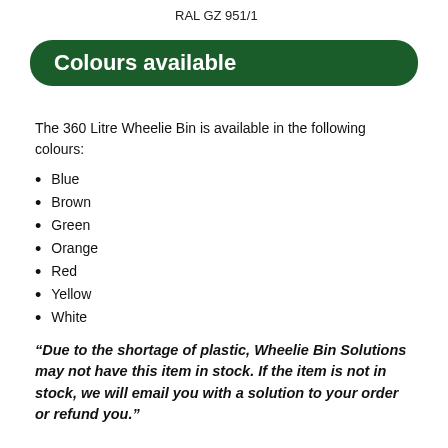RAL GZ 951/1
Colours available
The 360 Litre Wheelie Bin is available in the following colours:
Blue
Brown
Green
Orange
Red
Yellow
White
“Due to the shortage of plastic, Wheelie Bin Solutions may not have this item in stock. If the item is not in stock, we will email you with a solution to your order or refund you.”